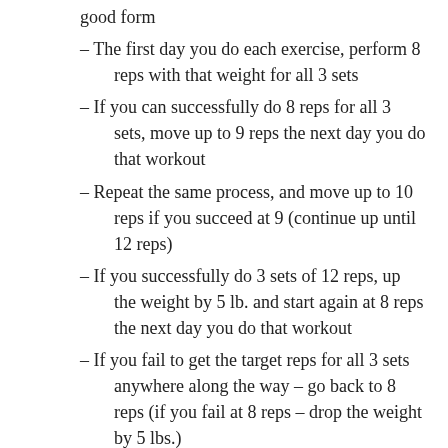good form
– The first day you do each exercise, perform 8 reps with that weight for all 3 sets
– If you can successfully do 8 reps for all 3 sets, move up to 9 reps the next day you do that workout
– Repeat the same process, and move up to 10 reps if you succeed at 9 (continue up until 12 reps)
– If you successfully do 3 sets of 12 reps, up the weight by 5 lb. and start again at 8 reps the next day you do that workout
– If you fail to get the target reps for all 3 sets anywhere along the way – go back to 8 reps (if you fail at 8 reps – drop the weight by 5 lbs.)
Day A